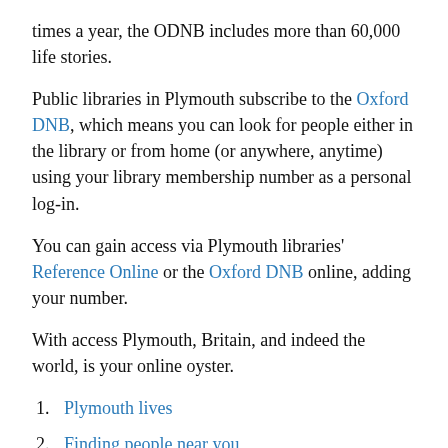times a year, the ODNB includes more than 60,000 life stories.
Public libraries in Plymouth subscribe to the Oxford DNB, which means you can look for people either in the library or from home (or anywhere, anytime) using your library membership number as a personal log-in.
You can gain access via Plymouth libraries' Reference Online or the Oxford DNB online, adding your number.
With access Plymouth, Britain, and indeed the world, is your online oyster.
Plymouth lives
Finding people near you
Topical and local history in the ODNB